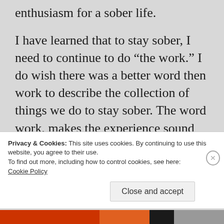enthusiasm for a sober life.
I have learned that to stay sober, I need to continue to do “the work.” I do wish there was a better word then work to describe the collection of things we do to stay sober. The word work, makes the experience sound unpleasant, when it is actually, for me, enjoyable. It is about doing all the things that help me connect to my authentic self.
Privacy & Cookies: This site uses cookies. By continuing to use this website, you agree to their use.
To find out more, including how to control cookies, see here:
Cookie Policy
Close and accept